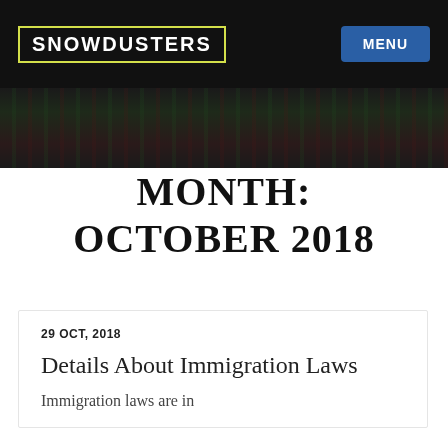SNOWDUSTERS
[Figure (photo): Dark blurred background hero image with muted green and red tones]
MONTH: OCTOBER 2018
29 OCT, 2018
Details About Immigration Laws
Immigration laws are in